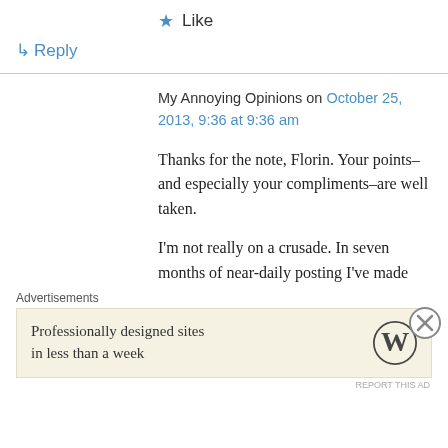★ Like
↳ Reply
My Annoying Opinions on October 25, 2013, 9:36 at 9:36 am
Thanks for the note, Florin. Your points–and especially your compliments–are well taken.
I'm not really on a crusade. In seven months of near-daily posting I've made two posts in this genre (though there's another coming soon on a different subject). I get that there are a great many bloggers whose motivations are very
Advertisements
Professionally designed sites in less than a week